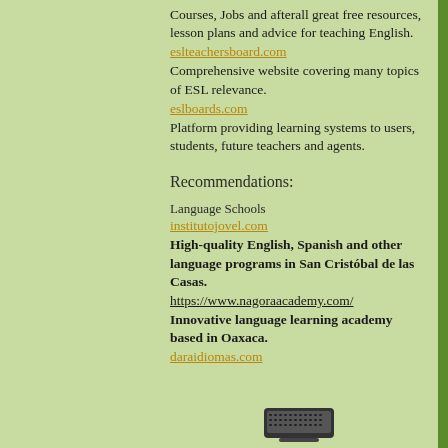Courses, Jobs and afterall great free resources, lesson plans and advice for teaching English.
eslteachersboard.com
Comprehensive website covering many topics of ESL relevance.
eslboards.com
Platform providing learning systems to users, students, future teachers and agents.
Recommendations:
Language Schools
institutojovel.com
High-quality English, Spanish and other language programs in San Cristóbal de las Casas.
https://www.nagoraacademy.com/
Innovative language learning academy based in Oaxaca.
daraidiomas.com